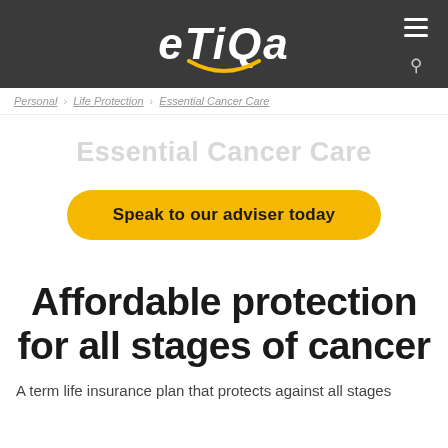eTiQa
Personal > Life Protection > Essential Cancer Care
Essential Cancer Care
Speak to our adviser today
Affordable protection for all stages of cancer
A term life insurance plan that protects against all stages